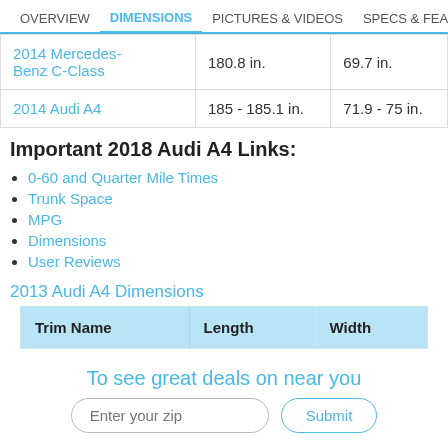OVERVIEW | DIMENSIONS | PICTURES & VIDEOS | SPECS & FEATURES
|  | Length | Width |
| --- | --- | --- |
| 2014 Mercedes-Benz C-Class | 180.8 in. | 69.7 in. |
| 2014 Audi A4 | 185 - 185.1 in. | 71.9 - 75 in. |
Important 2018 Audi A4 Links:
0-60 and Quarter Mile Times
Trunk Space
MPG
Dimensions
User Reviews
2013 Audi A4 Dimensions
| Trim Name | Length | Width |
| --- | --- | --- |
To see great deals on near you
Enter your zip | Submit